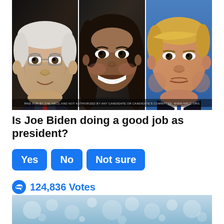[Figure (photo): Collage of three political figures side by side: Joe Biden (left), Kamala Harris (center), and Donald Trump (right). A watermark bar at bottom reads: PAID FOR BY THE NRCC AND NOT AUTHORIZED BY ANY CANDIDATE OR CANDIDATE'S COMMITTEE. WWW.NRCC.ORG]
Is Joe Biden doing a good job as president?
Yes | No | Not sure
124,836 Votes
[Figure (photo): Partial bottom image, appears to show sparkling/bokeh light background]